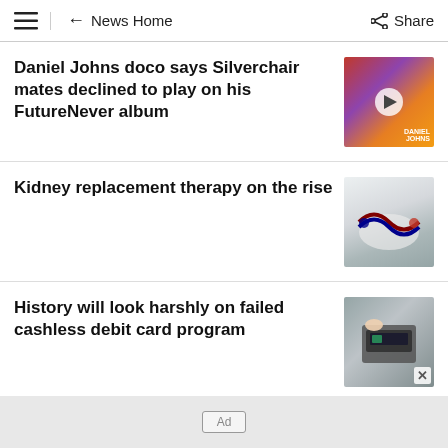≡  ← News Home  Share
Daniel Johns doco says Silverchair mates declined to play on his FutureNever album
[Figure (photo): Thumbnail photo of two people at an event with a play button overlay]
Kidney replacement therapy on the rise
[Figure (photo): Thumbnail photo of medical dialysis tubing/equipment]
History will look harshly on failed cashless debit card program
[Figure (photo): Thumbnail photo of a hand using a card payment terminal with close button]
Ad